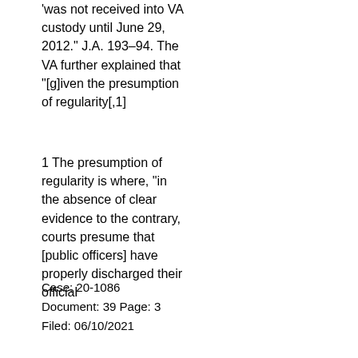'was not received into VA custody until June 29, 2012.' J.A. 193–94. The VA further explained that '[g]iven the presumption of regularity[,1]
1 The presumption of regularity is where, 'in the absence of clear evidence to the contrary, courts presume that [public officers] have properly discharged their official
Case: 20-1086
Document: 39 Page: 3
Filed: 06/10/2021